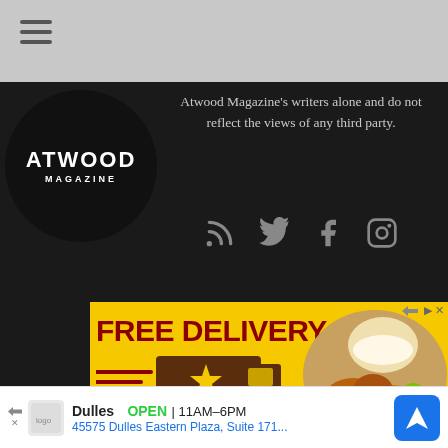[Figure (logo): Hamburger menu icon (three horizontal lines) in top grey bar]
[Figure (logo): Atwood Magazine circular logo with white text on black circle background]
Atwood Magazine's writers alone and do not reflect the views of any third party.
[Figure (infographic): Social media icons: RSS feed, Twitter bird, Facebook f, Instagram camera]
[Figure (infographic): Advertisement banner: FREE DELIVERY - GET YOUR FLAVOR DELIVERED! Order Now, with delivery truck graphic and food photo on yellow background]
[Figure (infographic): Bottom ad banner: Dulles OPEN 11AM-6PM, 45575 Dulles Eastern Plaza, Suite 171... with blue navigation arrow button]